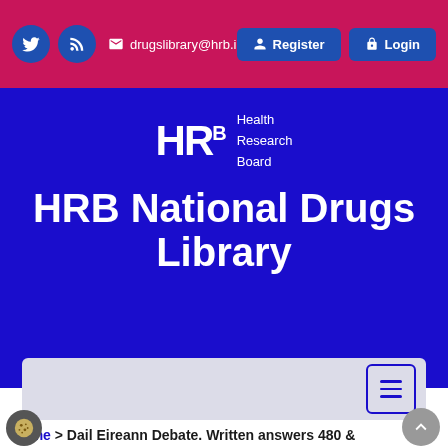drugslibrary@hrb.ie | Register | Login
[Figure (logo): HRB Health Research Board logo with text 'HRB National Drugs Library' on blue background]
HRB National Drugs Library
Home > Dail Eireann Debate. Written answers 480 & 491 - National drug-related deaths index [32913/13 & 32914/13].